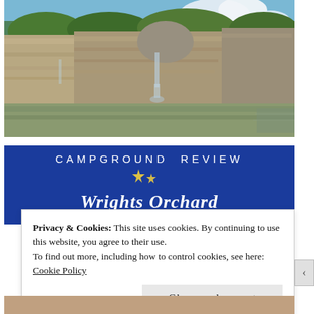[Figure (photo): Photo of a rocky cliff face with a waterfall flowing into a brown/green river, surrounded by lush green trees and a partly cloudy blue sky.]
CAMPGROUND REVIEW
Wrights Orchard (partially visible)
Privacy & Cookies: This site uses cookies. By continuing to use this website, you agree to their use.
To find out more, including how to control cookies, see here:
Cookie Policy
Close and accept